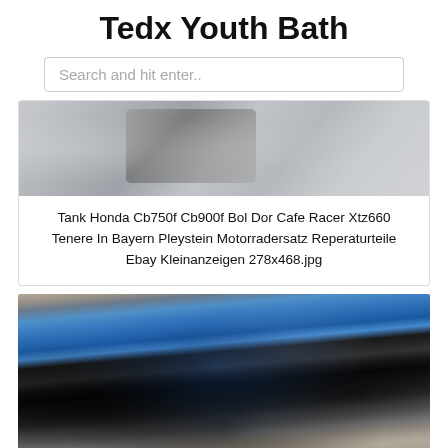Tedx Youth Bath
Search and hit enter..
[Figure (photo): Partially visible blurred or partially loaded image of a motorcycle tank or part]
Tank Honda Cb750f Cb900f Bol Dor Cafe Racer Xtz660 Tenere In Bayern Pleystein Motorradersatz Reperaturteile Ebay Kleinanzeigen 278x468.jpg
[Figure (photo): Photo of a blue and black custom bobber/cafe racer style motorcycle on a stone paved surface]